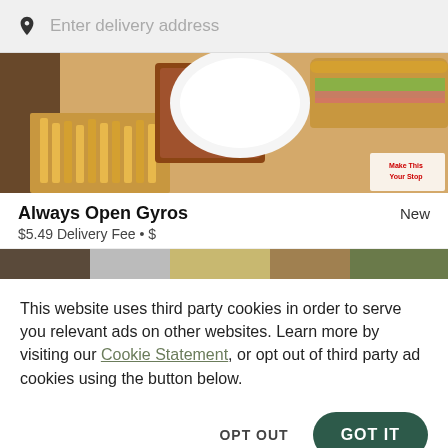Enter delivery address
[Figure (photo): Food photo showing fried food including french fries and what appears to be a gyro sandwich on a white background]
Always Open Gyros
New
$5.49 Delivery Fee • $
[Figure (photo): Partial food photo strip showing various dishes]
This website uses third party cookies in order to serve you relevant ads on other websites. Learn more by visiting our Cookie Statement, or opt out of third party ad cookies using the button below.
OPT OUT
GOT IT